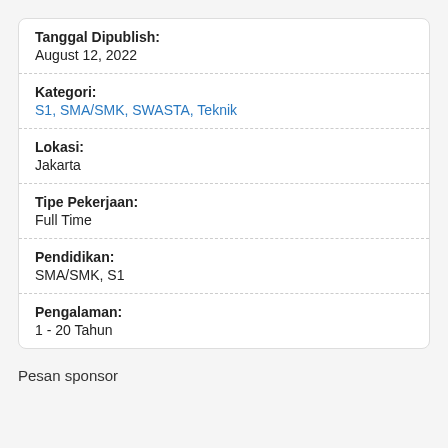Tanggal Dipublish: August 12, 2022
Kategori: S1, SMA/SMK, SWASTA, Teknik
Lokasi: Jakarta
Tipe Pekerjaan: Full Time
Pendidikan: SMA/SMK, S1
Pengalaman: 1 - 20 Tahun
Pesan sponsor